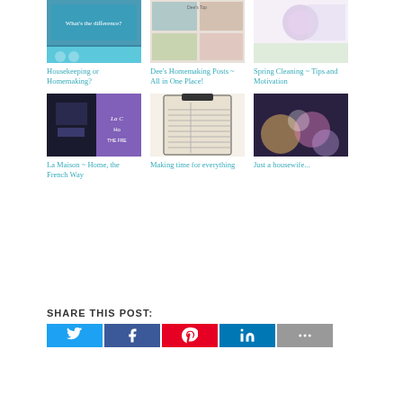[Figure (photo): Thumbnail image for Housekeeping or Homemaking article]
Housekeeping or Homemaking?
[Figure (photo): Thumbnail image for Dee's Homemaking Posts article]
Dee's Homemaking Posts ~ All in One Place!
[Figure (photo): Thumbnail image for Spring Cleaning article]
Spring Cleaning ~ Tips and Motivation
[Figure (photo): Thumbnail image for La Maison article]
La Maison ~ Home, the French Way
[Figure (photo): Thumbnail image for Making time for everything article]
Making time for everything
[Figure (photo): Thumbnail image for Just a housewife article]
Just a housewife...
SHARE THIS POST:
[Figure (infographic): Social share buttons: Twitter, Facebook, Pinterest, LinkedIn, More]